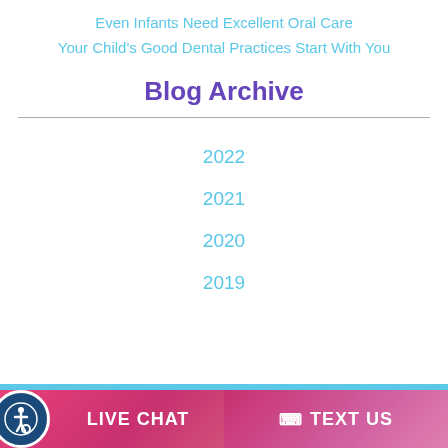Even Infants Need Excellent Oral Care
Your Child's Good Dental Practices Start With You
Blog Archive
2022
2021
2020
2019
LIVE CHAT   TEXT US